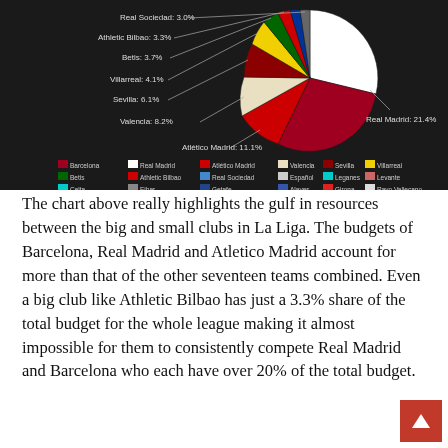[Figure (pie-chart): La Liga Club Budget Shares]
The chart above really highlights the gulf in resources between the big and small clubs in La Liga. The budgets of Barcelona, Real Madrid and Atletico Madrid account for more than that of the other seventeen teams combined. Even a big club like Athletic Bilbao has just a 3.3% share of the total budget for the whole league making it almost impossible for them to consistently compete Real Madrid and Barcelona who each have over 20% of the total budget.